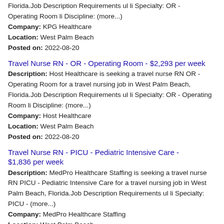Florida.Job Description Requirements ul li Specialty: OR - Operating Room li Discipline: (more...) Company: KPG Healthcare Location: West Palm Beach Posted on: 2022-08-20
Travel Nurse RN - OR - Operating Room - $2,293 per week
Description: Host Healthcare is seeking a travel nurse RN OR - Operating Room for a travel nursing job in West Palm Beach, Florida.Job Description Requirements ul li Specialty: OR - Operating Room li Discipline: (more...) Company: Host Healthcare Location: West Palm Beach Posted on: 2022-08-20
Travel Nurse RN - PICU - Pediatric Intensive Care - $1,836 per week
Description: MedPro Healthcare Staffing is seeking a travel nurse RN PICU - Pediatric Intensive Care for a travel nursing job in West Palm Beach, Florida.Job Description Requirements ul li Specialty: PICU - (more...) Company: MedPro Healthcare Staffing Location: West Palm Beach Posted on: 2022-08-21
Endo GI Registered Nurse Float PRN
Description: Description br br Float Pool Role br Will float to